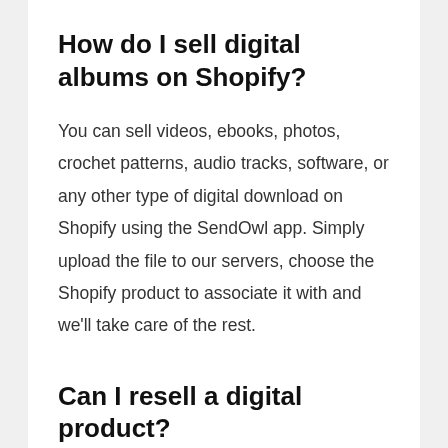How do I sell digital albums on Shopify?
You can sell videos, ebooks, photos, crochet patterns, audio tracks, software, or any other type of digital download on Shopify using the SendOwl app. Simply upload the file to our servers, choose the Shopify product to associate it with and we'll take care of the rest.
Can I resell a digital product?
eBay considers any content that can be downloaded